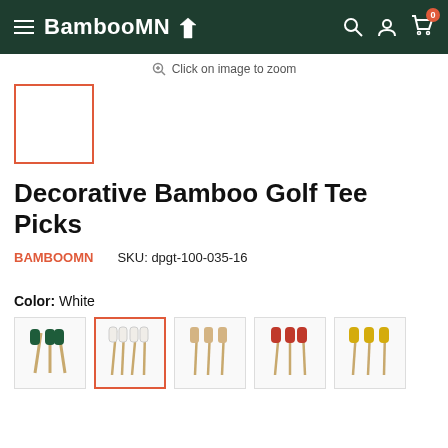BambooMN — navigation header with hamburger menu, search, account, and cart (0 items)
Click on image to zoom
[Figure (photo): Selected product thumbnail placeholder — white square with orange/red border]
Decorative Bamboo Golf Tee Picks
BAMBOOMN   SKU: dpgt-100-035-16
Color: White
[Figure (photo): Color swatch row showing five color options for bamboo golf tee picks: green, white (selected, outlined in orange/red), natural/tan, red, and yellow]